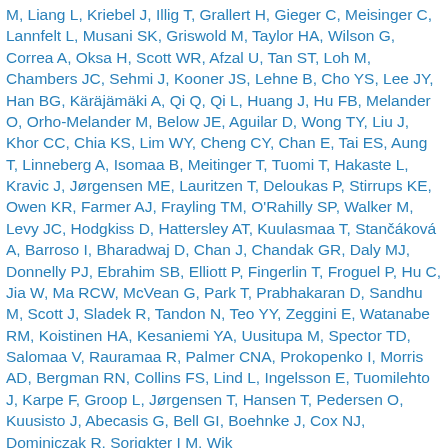M, Liang L, Kriebel J, Illig T, Grallert H, Gieger C, Meisinger C, Lannfelt L, Musani SK, Griswold M, Taylor HA, Wilson G, Correa A, Oksa H, Scott WR, Afzal U, Tan ST, Loh M, Chambers JC, Sehmi J, Kooner JS, Lehne B, Cho YS, Lee JY, Han BG, Käräjämäki A, Qi Q, Qi L, Huang J, Hu FB, Melander O, Orho-Melander M, Below JE, Aguilar D, Wong TY, Liu J, Khor CC, Chia KS, Lim WY, Cheng CY, Chan E, Tai ES, Aung T, Linneberg A, Isomaa B, Meitinger T, Tuomi T, Hakaste L, Kravic J, Jørgensen ME, Lauritzen T, Deloukas P, Stirrups KE, Owen KR, Farmer AJ, Frayling TM, O'Rahilly SP, Walker M, Levy JC, Hodgkiss D, Hattersley AT, Kuulasmaa T, Stančáková A, Barroso I, Bharadwaj D, Chan J, Chandak GR, Daly MJ, Donnelly PJ, Ebrahim SB, Elliott P, Fingerlin T, Froguel P, Hu C, Jia W, Ma RCW, McVean G, Park T, Prabhakaran D, Sandhu M, Scott J, Sladek R, Tandon N, Teo YY, Zeggini E, Watanabe RM, Koistinen HA, Kesaniemi YA, Uusitupa M, Spector TD, Salomaa V, Rauramaa R, Palmer CNA, Prokopenko I, Morris AD, Bergman RN, Collins FS, Lind L, Ingelsson E, Tuomilehto J, Karpe F, Groop L, Jørgensen T, Hansen T, Pedersen O, Kuusisto J, Abecasis G, Bell GI, Boehnke J, Cox NJ, Dominiczak R, Sorigkter I M, Wik